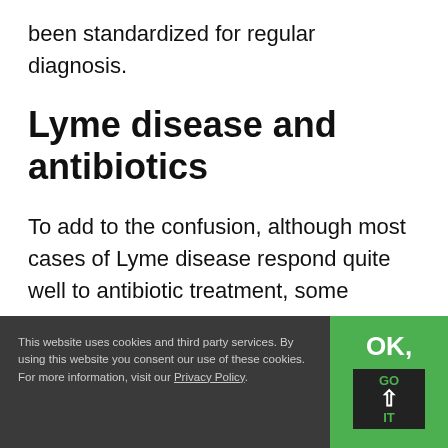been standardized for regular diagnosis.
Lyme disease and antibiotics
To add to the confusion, although most cases of Lyme disease respond quite well to antibiotic treatment, some
This website uses cookies and third party services. By using this website you consent our use of these cookies. For more information, visit our Privacy Policy.
OK, GO IT